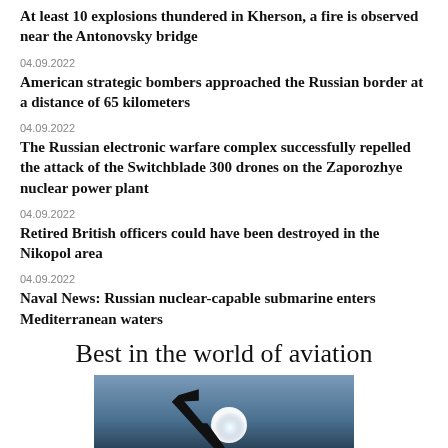At least 10 explosions thundered in Kherson, a fire is observed near the Antonovsky bridge
04.09.2022
American strategic bombers approached the Russian border at a distance of 65 kilometers
04.09.2022
The Russian electronic warfare complex successfully repelled the attack of the Switchblade 300 drones on the Zaporozhye nuclear power plant
04.09.2022
Retired British officers could have been destroyed in the Nikopol area
04.09.2022
Naval News: Russian nuclear-capable submarine enters Mediterranean waters
Best in the world of aviation
[Figure (photo): Dark silhouette of an aircraft against a bright sky with sun visible, photographed from below]